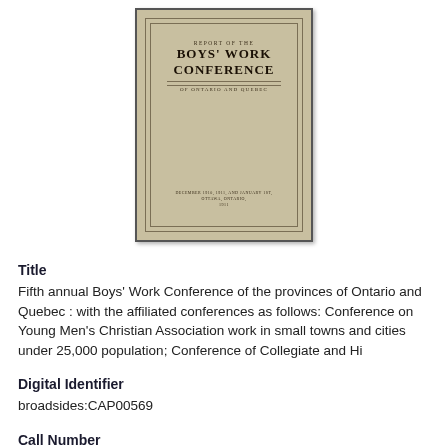[Figure (photo): Scanned book cover of 'Report of the Boys' Work Conference of Ontario and Quebec', tan/beige colored with decorative border, dated December 1910, 1911, and January 1st, Ottawa, Ontario, 1911]
Title
Fifth annual Boys' Work Conference of the provinces of Ontario and Quebec : with the affiliated conferences as follows: Conference on Young Men's Christian Association work in small towns and cities under 25,000 population; Conference of Collegiate and Hi
Digital Identifier
broadsides:CAP00569
Call Number